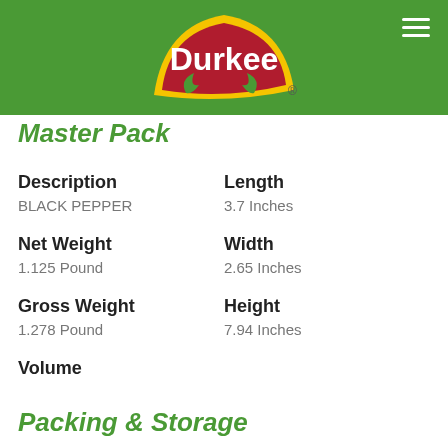[Figure (logo): Durkee brand logo on green header bar with hamburger menu icon]
Master Pack
Description
BLACK PEPPER
Length
3.7 Inches
Net Weight
1.125 Pound
Width
2.65 Inches
Gross Weight
1.278 Pound
Height
7.94 Inches
Volume
Packing & Storage